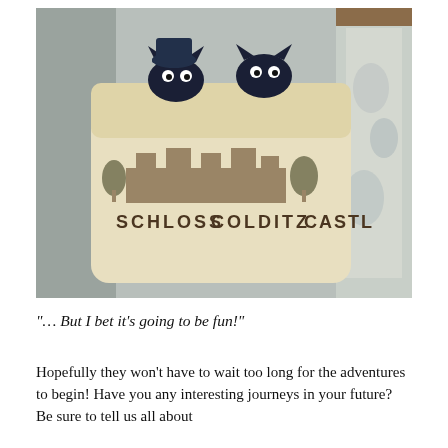[Figure (photo): A cream/beige canvas tote bag printed with 'SCHLOSS COLDITZ CASTLE' text and a castle illustration, sitting on a grey sofa. Two small black stuffed animal toys (cats or similar) peek out from the top of the bag. A floral-patterned fabric is visible on the right side.]
“… But I bet it’s going to be fun!”
Hopefully they won’t have to wait too long for the adventures to begin! Have you any interesting journeys in your future? Be sure to tell us all about